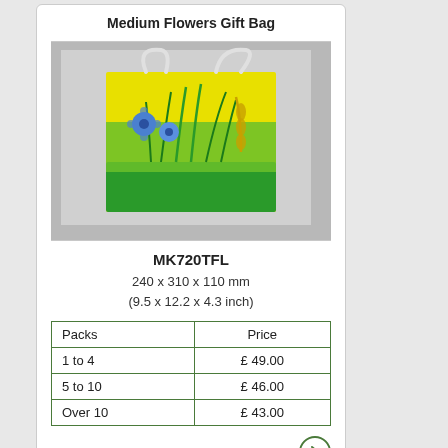Medium Flowers Gift Bag
[Figure (photo): A medium-sized paper gift bag with a yellow and green floral design featuring blue cornflowers and green grass/wheat motifs, with white twisted rope handles.]
MK720TFL
240 x 310 x 110 mm
(9.5 x 12.2 x 4.3 inch)
| Packs | Price |
| --- | --- |
| 1 to 4 | £ 49.00 |
| 5 to 10 | £ 46.00 |
| Over 10 | £ 43.00 |